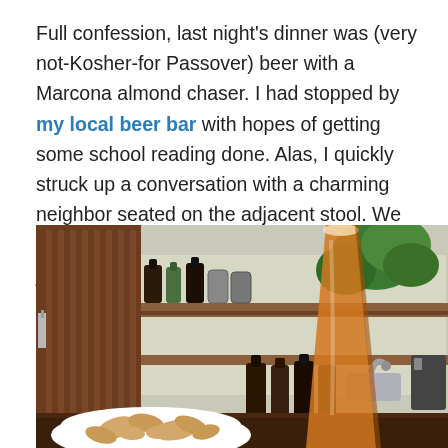Full confession, last night's dinner was (very not-Kosher-for Passover) beer with a Marcona almond chaser. I had stopped by my local beer bar with hopes of getting some school reading done. Alas, I quickly struck up a conversation with a charming neighbor seated on the adjacent stool. We spent the next few hours discussing beer, jazz and the upsides of midlife crises.
[Figure (photo): Interior of a local beer bar showing wooden shelving with beer bottles and cans, a tap system, a sink, plants, and in the foreground a large pint glass of amber beer and a white bowl of Marcona almonds on a dark wooden bar.]